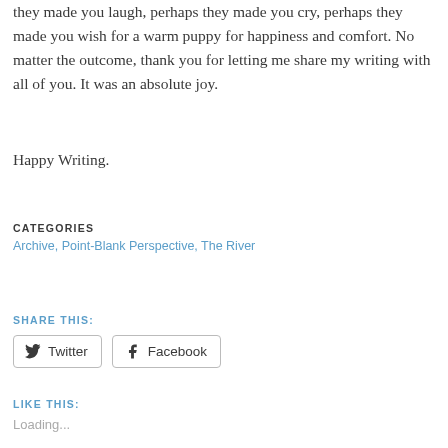they made you laugh, perhaps they made you cry, perhaps they made you wish for a warm puppy for happiness and comfort. No matter the outcome, thank you for letting me share my writing with all of you. It was an absolute joy.
Happy Writing.
CATEGORIES
Archive, Point-Blank Perspective, The River
SHARE THIS:
Twitter Facebook
LIKE THIS:
Loading...